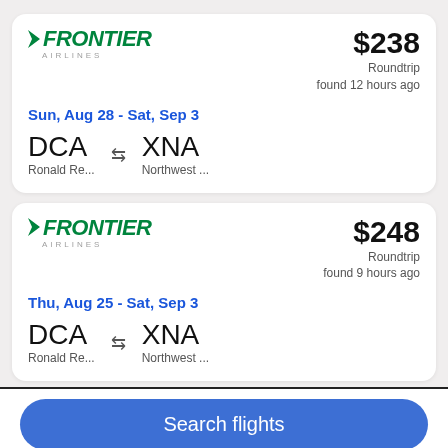[Figure (screenshot): Flight search result card 1: Frontier Airlines, $238 Roundtrip found 12 hours ago, Sun Aug 28 - Sat Sep 3, DCA (Ronald Re...) to XNA (Northwest...)]
[Figure (screenshot): Flight search result card 2: Frontier Airlines, $248 Roundtrip found 9 hours ago, Thu Aug 25 - Sat Sep 3, DCA (Ronald Re...) to XNA (Northwest...)]
Search flights